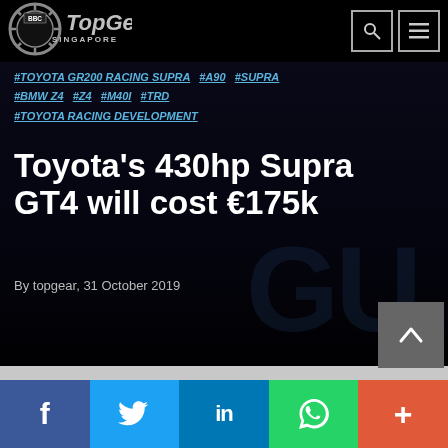[Figure (logo): BBC Top Gear Singapore logo — circular gear emblem with BBC badge, italic TopGear text and SINGAPORE below]
#TOYOTA GR200 RACING SUPRA  #A90  #SUPRA  #BMW Z4  #Z4  #M40I  #TRD  #TOYOTA RACING DEVELOPMENT
Toyota's 430hp Supra GT4 will cost €175k
By topgear, 31 October 2019